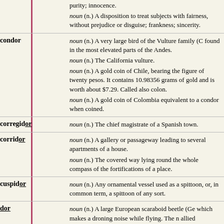noun (n.) A disposition to treat subjects with fairness, without prejudice or disguise; frankness; sincerity.
condor — noun (n.) A very large bird of the Vulture family found in the most elevated parts of the Andes. noun (n.) The California vulture. noun (n.) A gold coin of Chile, bearing the figure of a condor; twenty pesos. It contains 10.98356 grams of gold and is worth about $7.29. Called also colon. noun (n.) A gold coin of Colombia equivalent to a condor when coined.
corregidor — noun (n.) The chief magistrate of a Spanish town.
corridor — noun (n.) A gallery or passageway leading to several apartments of a house. noun (n.) The covered way lying round the whole compass of the fortifications of a place.
cuspidor — noun (n.) Any ornamental vessel used as a spittoon, or, in common term, a spittoon of any sort.
dor — noun (n.) A large European scaraboid beetle (Geotrupes stercorarius), which makes a droning noise while flying. The name is also applied to allied American species, as the June bug. Called also dorrbeetle, dorbug, dorrfly, and buzzard clock. noun (n.) A trick, joke, or deception. verb (v. t.) To make a fool of; to deceive.